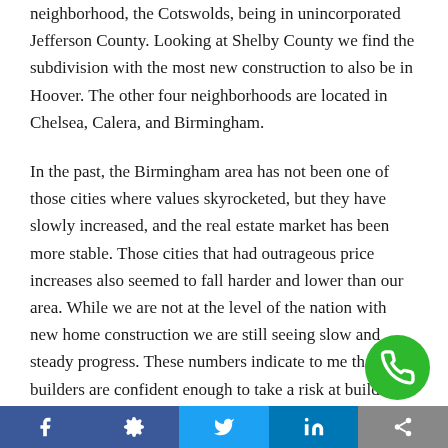neighborhood, the Cotswolds, being in unincorporated Jefferson County. Looking at Shelby County we find the subdivision with the most new construction to also be in Hoover. The other four neighborhoods are located in Chelsea, Calera, and Birmingham.
In the past, the Birmingham area has not been one of those cities where values skyrocketed, but they have slowly increased, and the real estate market has been more stable. Those cities that had outrageous price increases also seemed to fall harder and lower than our area. While we are not at the level of the nation with new home construction we are still seeing slow and steady progress. These numbers indicate to me that builders are confident enough to take a risk at building and selling new construction, and buyers are ready to buy. What signs of new construction have you seen? Leave me a message below I would be interested
Social media share bar